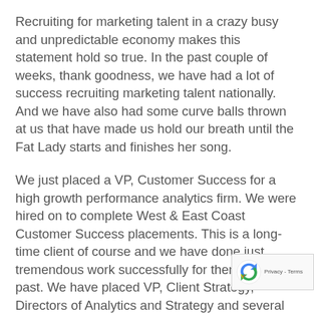Recruiting for marketing talent in a crazy busy and unpredictable economy makes this statement hold so true.  In the past couple of weeks, thank goodness, we have had a lot of success recruiting marketing talent nationally. And we have also had some curve balls thrown at us that have made us hold our breath until the Fat Lady starts and finishes her song.
We just placed a VP, Customer Success for a high growth performance analytics firm. We were hired on to complete West & East Coast Customer Success placements.  This is a long-time client of course and we have done just tremendous work successfully for them in the past.  We have placed VP, Client Strategy, Directors of Analytics and Strategy and several similar titles over the yea[rs]. Thank goodness the client was confident eno[ugh about] our capabilities to tap us again for those Customer [Success roles]